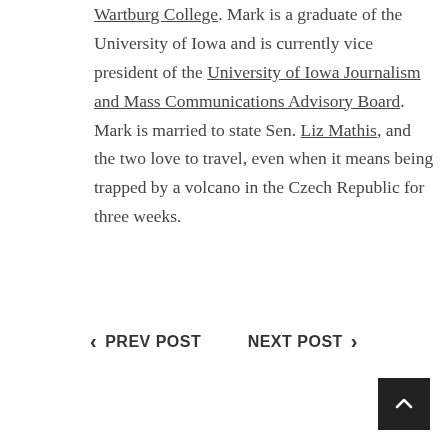Wartburg College. Mark is a graduate of the University of Iowa and is currently vice president of the University of Iowa Journalism and Mass Communications Advisory Board. Mark is married to state Sen. Liz Mathis, and the two love to travel, even when it means being trapped by a volcano in the Czech Republic for three weeks.
< PREV POST    NEXT POST >